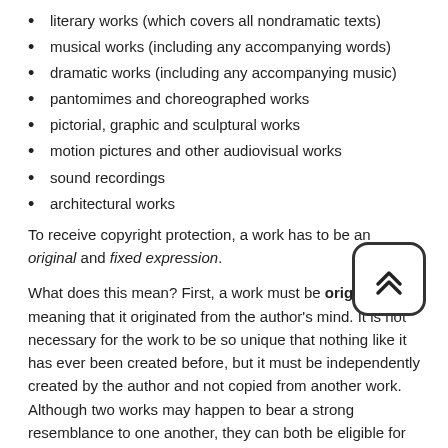literary works (which covers all nondramatic texts)
musical works (including any accompanying words)
dramatic works (including any accompanying music)
pantomimes and choreographed works
pictorial, graphic and sculptural works
motion pictures and other audiovisual works
sound recordings
architectural works
To receive copyright protection, a work has to be an original and fixed expression.
What does this mean? First, a work must be original, meaning that it originated from the author's mind. It is not necessary for the work to be so unique that nothing like it has ever been created before, but it must be independently created by the author and not copied from another work. Although two works may happen to bear a strong resemblance to one another, they can both be eligible for copyright protection as long as neither was copied from the